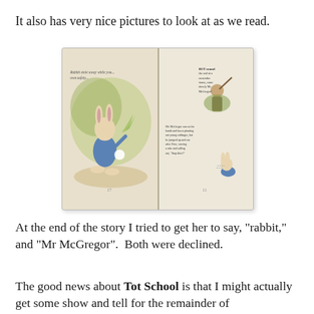It also has very nice pictures to look at as we read.
[Figure (photo): A photo of an open children's book showing two illustrated pages from The Tale of Peter Rabbit, featuring watercolor illustrations of Peter Rabbit in Mr. McGregor's garden, with handwritten-style text on both pages.]
At the end of the story I tried to get her to say, "rabbit," and "Mr McGregor".  Both were declined.
The good news about Tot School is that I might actually get some show and tell for the remainder of